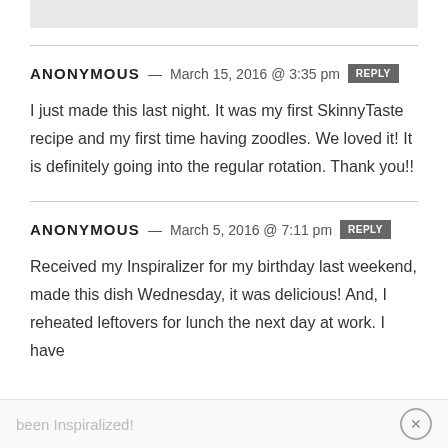ANONYMOUS — March 15, 2016 @ 3:35 pm REPLY
I just made this last night. It was my first SkinnyTaste recipe and my first time having zoodles. We loved it! It is definitely going into the regular rotation. Thank you!!
ANONYMOUS — March 5, 2016 @ 7:11 pm REPLY
Received my Inspiralizer for my birthday last weekend, made this dish Wednesday, it was delicious! And, I reheated leftovers for lunch the next day at work. I have
been Inspiralized!